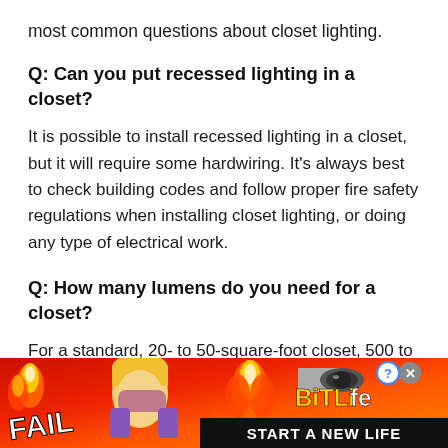most common questions about closet lighting.
Q: Can you put recessed lighting in a closet?
It is possible to install recessed lighting in a closet, but it will require some hardwiring. It's always best to check building codes and follow proper fire safety regulations when installing closet lighting, or doing any type of electrical work.
Q: How many lumens do you need for a closet?
For a standard, 20- to 50-square-foot closet, 500 to 1,000 lumens should suffice.
[Figure (infographic): Advertisement banner for BitLife game showing 'FAIL' text, cartoon character, flames, BitLife logo with question mark and X icons, and 'START A NEW LIFE' text on black background, on red/orange fiery background]